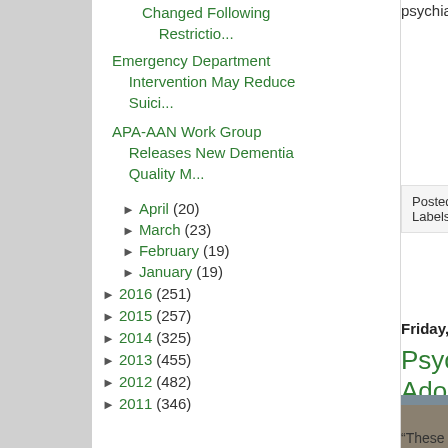Changed Following Restrictio...
Emergency Department Intervention May Reduce Suici...
APA-AAN Work Group Releases New Dementia Quality M...
► April (20)
► March (23)
► February (19)
► January (19)
► 2016 (251)
► 2015 (257)
► 2014 (325)
► 2013 (455)
► 2012 (482)
► 2011 (346)
psychiatry at Georget...
Posted by Psychiatric Ne...
Labels: ajp in advance, C...
Friday, May 26, 2017
Psychotic Ex... Adolescent C...
[Figure (photo): Young man with backpack walking on a city street, seen from behind, wearing a green jacket and carrying a tan backpack]
“These findings highlig... psychosis risk and sug... should be...